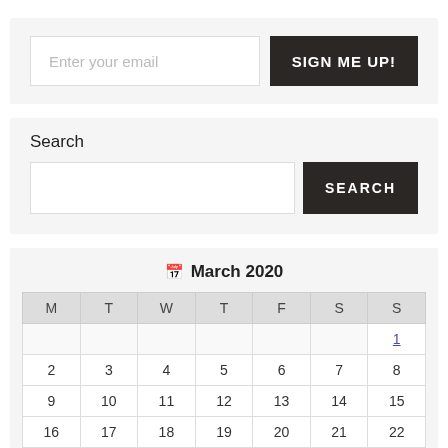Enter your email
SIGN ME UP!
Search
SEARCH
March 2020
| M | T | W | T | F | S | S |
| --- | --- | --- | --- | --- | --- | --- |
|  |  |  |  |  |  | 1 |
| 2 | 3 | 4 | 5 | 6 | 7 | 8 |
| 9 | 10 | 11 | 12 | 13 | 14 | 15 |
| 16 | 17 | 18 | 19 | 20 | 21 | 22 |